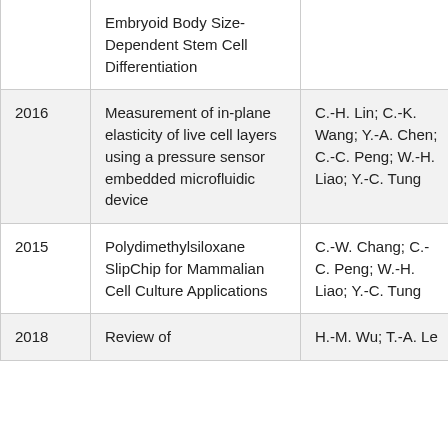| Year | Title | Authors |
| --- | --- | --- |
|  | Embryoid Body Size-Dependent Stem Cell Differentiation |  |
| 2016 | Measurement of in-plane elasticity of live cell layers using a pressure sensor embedded microfluidic device | C.-H. Lin; C.-K. Wang; Y.-A. Chen; C.-C. Peng; W.-H. Liao; Y.-C. Tung |
| 2015 | Polydimethylsiloxane SlipChip for Mammalian Cell Culture Applications | C.-W. Chang; C.-C. Peng; W.-H. Liao; Y.-C. Tung |
| 2018 | Review of | H.-M. Wu; T.-A. Le… |